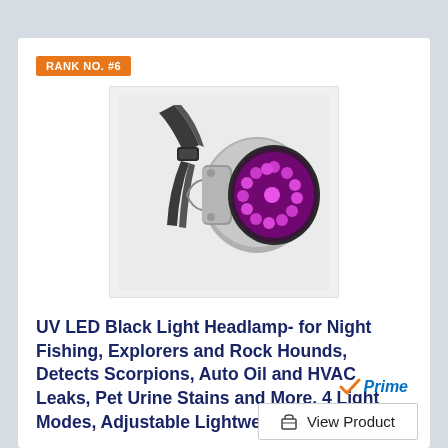RANK NO. #6
[Figure (photo): UV LED black light headlamp product photo showing silver headlamp with purple/UV LEDs glowing, mounted on adjustable headband straps]
UV LED Black Light Headlamp- for Night Fishing, Explorers and Rock Hounds, Detects Scorpions, Auto Oil and HVAC Leaks, Pet Urine Stains and More, 4 Light Modes, Adjustable Lightweight, Comfortable
[Figure (logo): Amazon Prime logo with orange checkmark and blue italic Prime text]
View Product